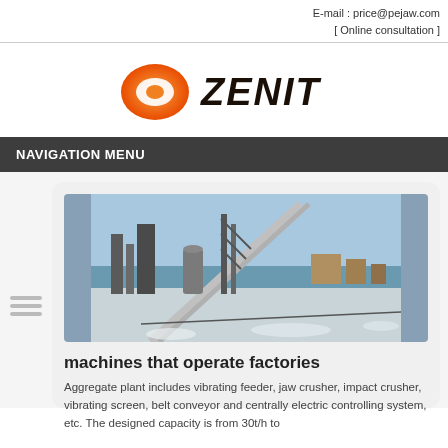E-mail : price@pejaw.com
[ Online consultation ]
[Figure (logo): Zenit company logo with orange oval icon and bold ZENIT text]
NAVIGATION MENU
[Figure (photo): Industrial aggregate plant with conveyor belts, steel structures, and snowy outdoor setting]
machines that operate factories
Aggregate plant includes vibrating feeder, jaw crusher, impact crusher, vibrating screen, belt conveyor and centrally electric controlling system, etc. The designed capacity is from 30t/h to